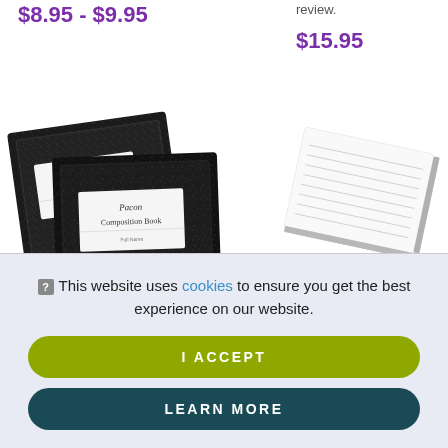$8.95 - $9.95
review.
$15.95
[Figure (photo): Two black Pacon Composition Books stacked at an angle]
[Figure (photo): A white lined notepad/index card block, slightly tilted]
This website uses cookies to ensure you get the best experience on our website.
I ACCEPT
LEARN MORE